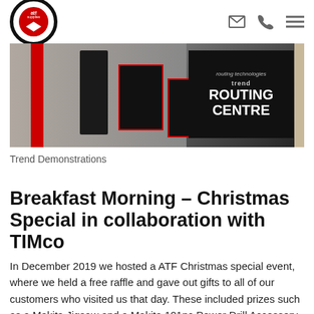atf supplies [logo] | email icon | phone icon | menu icon
[Figure (photo): Outdoor photo showing a Trend Routing Centre sign on a black display, with person standing near brick building and red doors]
Trend Demonstrations
Breakfast Morning – Christmas Special in collaboration with TIMco
In December 2019 we hosted a ATF Christmas special event, where we held a free raffle and gave out gifts to all of our customers who visited us that day. These included prizes such as a Makita Jigsaw and a Makita 101pc Power Drill Accessory Set, a Stanley saw and